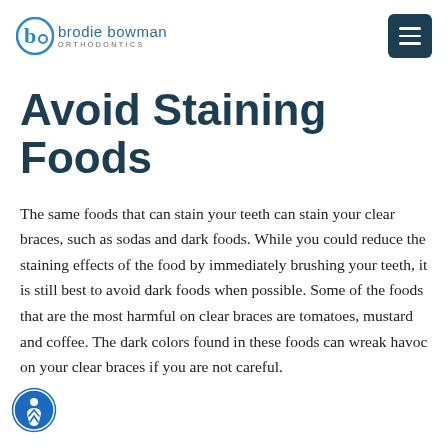brodie bowman ORTHODONTICS
Avoid Staining Foods
The same foods that can stain your teeth can stain your clear braces, such as sodas and dark foods. While you could reduce the staining effects of the food by immediately brushing your teeth, it is still best to avoid dark foods when possible. Some of the foods that are the most harmful on clear braces are tomatoes, mustard and coffee. The dark colors found in these foods can wreak havoc on your clear braces if you are not careful.